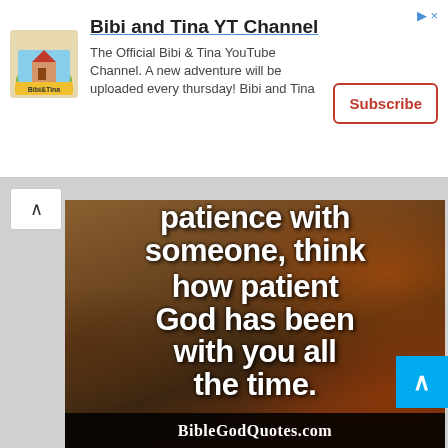[Figure (screenshot): YouTube channel advertisement banner for 'Bibi and Tina YT Channel' with logo, description text, and Subscribe button]
[Figure (photo): Inspirational quote image with autumn background reading 'patience with someone, think how patient God has been with you all the time.' with BibleGodQuotes.com watermark]